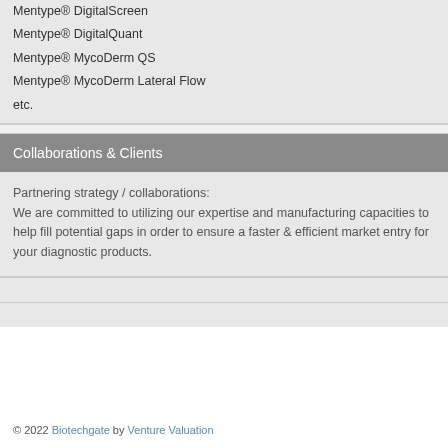Mentype® DigitalScreen
Mentype® DigitalQuant
Mentype® MycoDerm QS
Mentype® MycoDerm Lateral Flow
etc.
Collaborations & Clients
Partnering strategy / collaborations:
We are committed to utilizing our expertise and manufacturing capacities to help fill potential gaps in order to ensure a faster & efficient market entry for your diagnostic products.
© 2022 Biotechgate by Venture Valuation